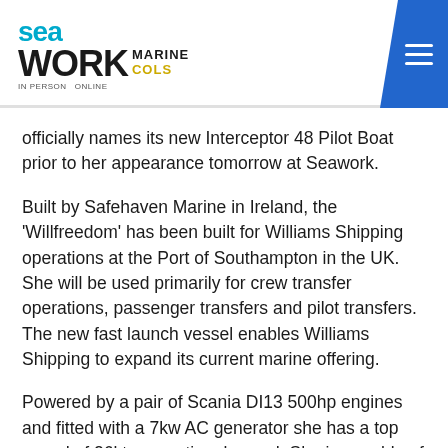Seawork Marine Cols — IN PERSON ONLINE
officially names its new Interceptor 48 Pilot Boat prior to her appearance tomorrow at Seawork.
Built by Safehaven Marine in Ireland, the 'Willfreedom' has been built for Williams Shipping operations at the Port of Southampton in the UK. She will be used primarily for crew transfer operations, passenger transfers and pilot transfers. The new fast launch vessel enables Williams Shipping to expand its current marine offering.
Powered by a pair of Scania DI13 500hp engines and fitted with a 7kw AC generator she has a top speed of 26kts operational speed. She is capable of carrying a total of 12 passengers and 2 crew. She utilises shock mitigation seating with a central helm position. She has